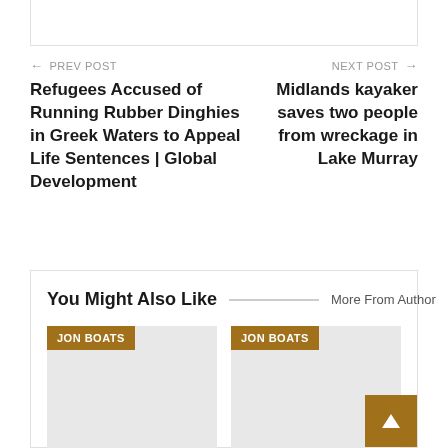← PREV POST
NEXT POST →
Refugees Accused of Running Rubber Dinghies in Greek Waters to Appeal Life Sentences | Global Development
Midlands kayaker saves two people from wreckage in Lake Murray
You Might Also Like
More From Author
JON BOATS
JON BOATS